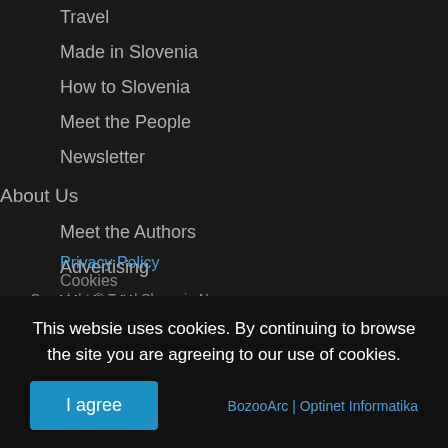Travel
Made in Slovenia
How to Slovenia
Meet the People
Newsletter
About Us
Meet the Authors
Advertising
Work with us
Contact
Terms of Service
Privacy Policy
Cookies
Copyright © Total Slovenia News
This websie uses cookies. By continuing to browse the site you are agreeing to our use of cookies.
I agree
BozooArc | Optinet Informatika